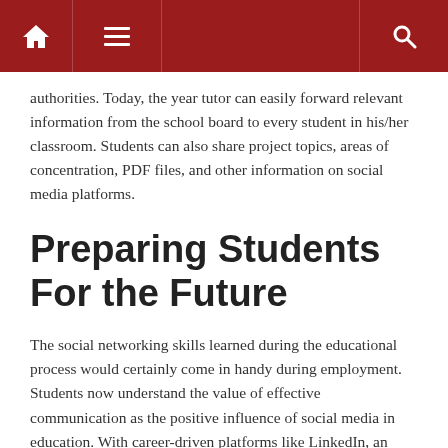Navigation bar with home, menu, and search icons
authorities. Today, the year tutor can easily forward relevant information from the school board to every student in his/her classroom. Students can also share project topics, areas of concentration, PDF files, and other information on social media platforms.
Preparing Students For the Future
The social networking skills learned during the educational process would certainly come in handy during employment. Students now understand the value of effective communication as the positive influence of social media in education. With career-driven platforms like LinkedIn, an undergraduate can develop a professional career presence from college. By staying updated with Twitter, students get up-to-date prospects